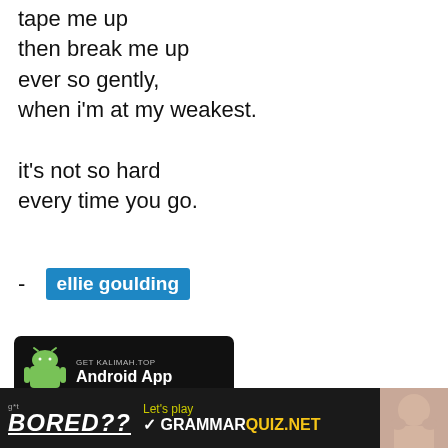tape me up
then break me up
ever so gently,
when i'm at my weakest.

it's not so hard
every time you go.
- ellie goulding
[Figure (other): Android app banner: GET KALIMAH.TOP Android App on dark background with Android robot icon]
[Figure (other): Social share bar with Facebook, Twitter, WhatsApp, Telegram, Email, and More buttons. Label: Like it? Share it!]
[Figure (other): Bottom advertisement banner: BORED?? Let's play GRAMMARQUIZ.NET with person photo on right]